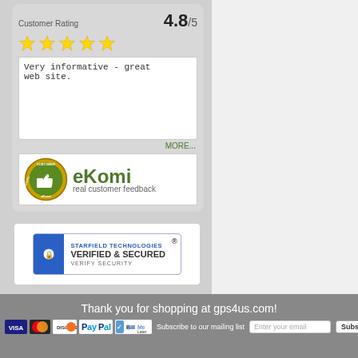[Figure (infographic): Customer Rating widget showing 4.8/5 score with 5 gold stars, a review quote 'Very informative - great web site.' with a MORE... link, and eKomi real customer feedback badge]
[Figure (logo): Starfield Technologies Verified & Secured badge with shield icon and 'VERIFY SECURITY' text]
Thank you for shopping at gps4us.com!
Subscribe to our mailing list
[Figure (infographic): Payment icons: VISA, MasterCard, Discover, PayPal, BillMeLater. Email subscribe input and Subscribe button.]